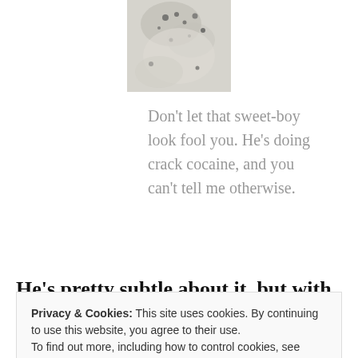[Figure (photo): Close-up photo of a white/grey powdery surface with dark specks, centered near top of page]
Don't let that sweet-boy look fool you. He's doing crack cocaine, and you can't tell me otherwise.
He's pretty subtle about it, but with my trained journalistic
Privacy & Cookies: This site uses cookies. By continuing to use this website, you agree to their use.
To find out more, including how to control cookies, see here: Cookie Policy
Close and accept
goes back to the couch. He eats it while I'm at work, or is